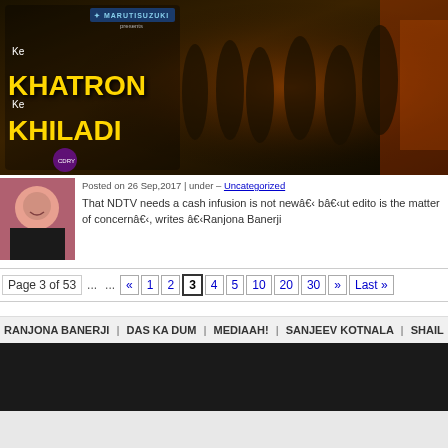[Figure (photo): Khatron Ke Khiladi banner with show logo and cast members on dark fiery background, sponsored by Maruti Suzuki and Cadbury]
[Figure (photo): Small thumbnail of a woman smiling, partial face visible]
Posted on 26 Sep,2017 | under – Uncategorized
That NDTV needs a cash infusion is not newâ€‹ bâ€‹ut edito is the matter of concernâ€‹, writes â€‹Ranjona Banerji
Page 3 of 53  ...  ...  «  1  2  3  4  5  10  20  30  »  Last »
RANJONA BANERJI | DAS KA DUM | MEDIAAH! | SANJEEV KOTNALA | SHAIL
Home
About Us
MxMIndia Grievance Redressal
TEAM MxM
ADVERTISE
CONTACT US
EMAIL NEWSLETTER
CODE OF ETHICS
SMS ALERT
TERMS OF USE
PRIVACY POLICY
Holidays 2012